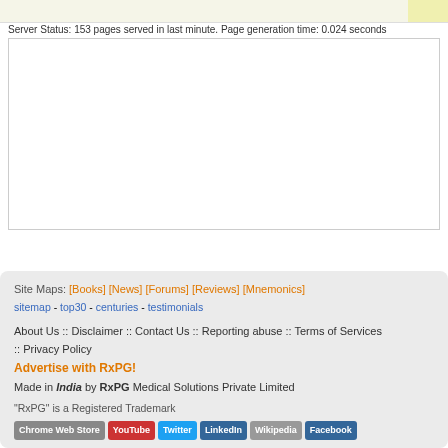Server Status: 153 pages served in last minute. Page generation time: 0.024 seconds
[Figure (other): Advertisement box (empty white rectangle with border)]
Site Maps: [Books] [News] [Forums] [Reviews] [Mnemonics]
sitemap - top30 - centuries - testimonials

About Us :: Disclaimer :: Contact Us :: Reporting abuse :: Terms of Services :: Privacy Policy
Advertise with RxPG!
Made in India by RxPG Medical Solutions Private Limited

"RxPG" is a Registered Trademark
Chrome Web Store  YouTube  Twitter  LinkedIn  Wikipedia  Facebook